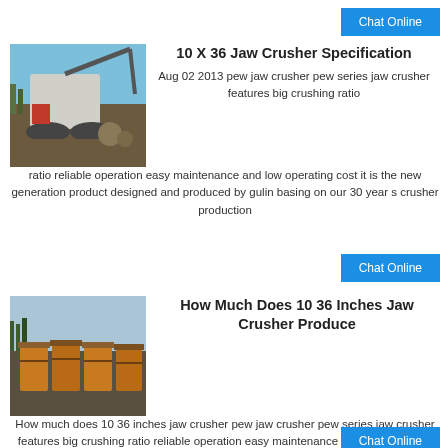Chat Online
[Figure (photo): Heavy mining/crushing equipment, jaw crusher machine on site, outdoor daytime]
10 X 36 Jaw Crusher Specification
Aug 02 2013  pew jaw crusher pew series jaw crusher features big crushing ratio reliable operation easy maintenance and low operating cost it is the new generation product designed and produced by gulin basing on our 30 year s crusher production
Chat Online
[Figure (photo): Multiple jaw crusher units lined up at an outdoor quarry/mining site]
How Much Does 10 36 Inches Jaw Crusher Produce
How much does 10 36 inches jaw crusher pew jaw crusher pew series jaw crusher features big crushing ratio reliable operation easy maintenance and low operating cost
Chat Online